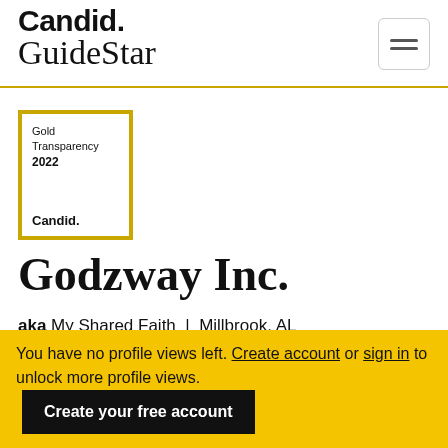Candid. GuideStar
[Figure (logo): Gold Transparency 2022 Candid. badge with gold border]
Godzway Inc.
aka My Shared Faith  |  Millbrook, AL  |  www.mysharedfaith.com
You have no profile views left. Create account or sign in to unlock more profile views. Create your free account